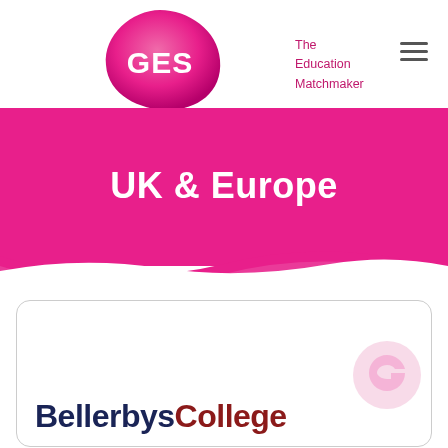[Figure (logo): GES logo - pink teardrop shape with white text GES, and tagline The Education Matchmaker in pink]
[Figure (logo): Bellerbys College logo in navy and dark red bold text at bottom of page inside a rounded card]
UK & Europe